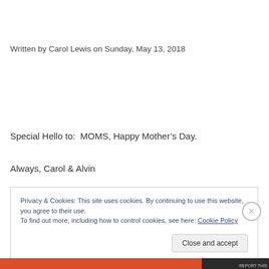Written by Carol Lewis on Sunday, May 13, 2018
Special Hello to:  MOMS, Happy Mother’s Day.
Always, Carol & Alvin
Privacy & Cookies: This site uses cookies. By continuing to use this website, you agree to their use.
To find out more, including how to control cookies, see here: Cookie Policy
Close and accept